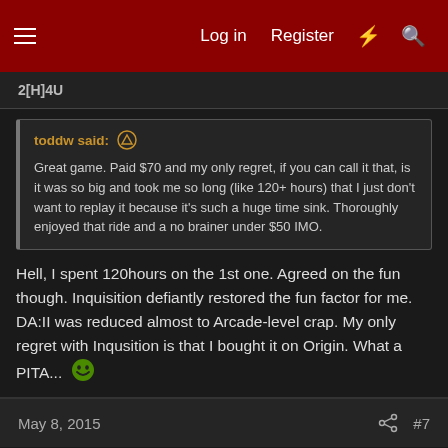Log in  Register
2[H]4U
toddw said:
Great game. Paid $70 and my only regret, if you can call it that, is it was so big and took me so long (like 120+ hours) that I just don't want to replay it because it's such a huge time sink. Thoroughly enjoyed that ride and a no brainer under $50 IMO.
Hell, I spent 120hours on the 1st one. Agreed on the fun though. Inquisition defiantly restored the fun factor for me. DA:II was reduced almost to Arcade-level crap. My only regret with Inqusition is that I bought it on Origin. What a PITA...
May 8, 2015
#7
Lysdexik
Limp Gawd